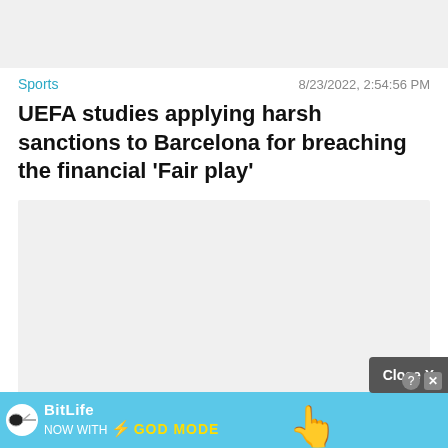[Figure (photo): Gray placeholder image at top of page]
Sports    8/23/2022, 2:54:56 PM
UEFA studies applying harsh sanctions to Barcelona for breaching the financial 'Fair play'
[Figure (photo): Gray placeholder content image]
Sports    8/23/2022, 8:24:22 AM
Brazilian...
[Figure (screenshot): Close X button overlay and BitLife ad banner at bottom]